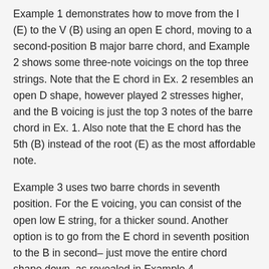Example 1 demonstrates how to move from the I (E) to the V (B) using an open E chord, moving to a second-position B major barre chord, and Example 2 shows some three-note voicings on the top three strings. Note that the E chord in Ex. 2 resembles an open D shape, however played 2 stresses higher, and the B voicing is just the top 3 notes of the barre chord in Ex. 1. Also note that the E chord has the 5th (B) instead of the root (E) as the most affordable note.
Example 3 uses two barre chords in seventh position. For the E voicing, you can consist of the open low E string, for a thicker sound. Another option is to go from the E chord in seventh position to the B in second– just move the entire chord shape down, as revealed in Example 4.
Example 5 reveals three-note voicings obtained from the barre chords in Ex. 3. Notice that for the B voicing, the most affordable note is not the root (B) but the 3rd (D #). Moving greater up the neck, It's not truly useful to play...